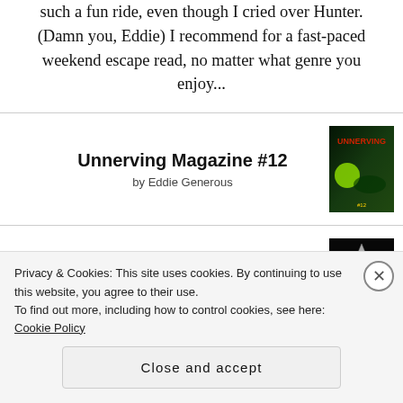such a fun ride, even though I cried over Hunter. (Damn you, Eddie) I recommend for a fast-paced weekend escape read, no matter what genre you enjoy...
Unnerving Magazine #12 by Eddie Generous
[Figure (photo): Book cover of Unnerving Magazine #12 — dark green background with yellow-green circular element]
The Only Good Indians by Stephen Graham Jones
[Figure (photo): Book cover of The Only Good Indians — black background with antler silhouette]
Stoker's Wilde
[Figure (photo): Book cover of Stoker's Wilde — partially visible]
Privacy & Cookies: This site uses cookies. By continuing to use this website, you agree to their use.
To find out more, including how to control cookies, see here: Cookie Policy
Close and accept